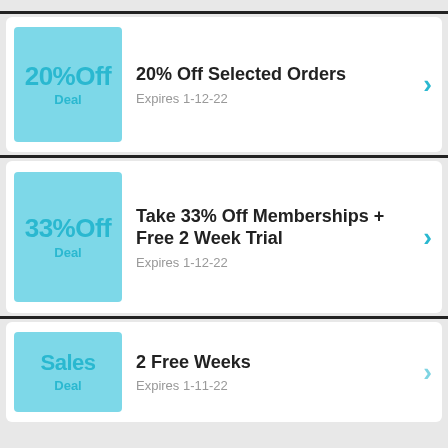[Figure (infographic): Deal card: 20% Off badge with text '20%Off Deal']
20% Off Selected Orders
Expires 1-12-22
[Figure (infographic): Deal card: 33% Off badge with text '33%Off Deal']
Take 33% Off Memberships + Free 2 Week Trial
Expires 1-12-22
[Figure (infographic): Deal card: Sales badge with text 'Sales Deal']
2 Free Weeks
Expires 1-11-22